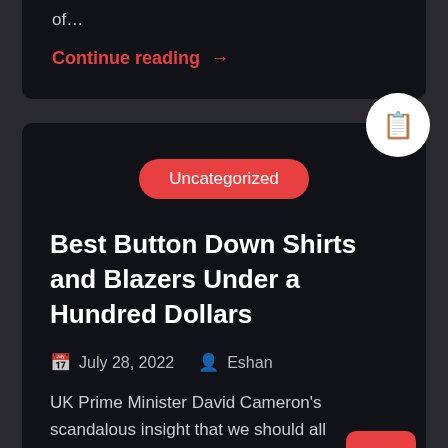of…
Continue reading →
Uncategorized
Best Button Down Shirts and Blazers Under a Hundred Dollars
July 28, 2022   Eshan
UK Prime Minister David Cameron's scandalous insight that we should all 'embrace a hoodie' has been very pitched and his control. After that coal so into it b…